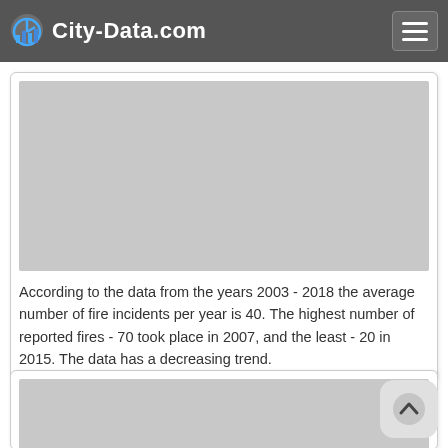City-Data.com
[Figure (other): Gray placeholder image area for a fire incidents chart]
According to the data from the years 2003 - 2018 the average number of fire incidents per year is 40. The highest number of reported fires - 70 took place in 2007, and the least - 20 in 2015. The data has a decreasing trend.
[Figure (other): Partial gray placeholder image area for a second chart (bottom of page, cut off)]